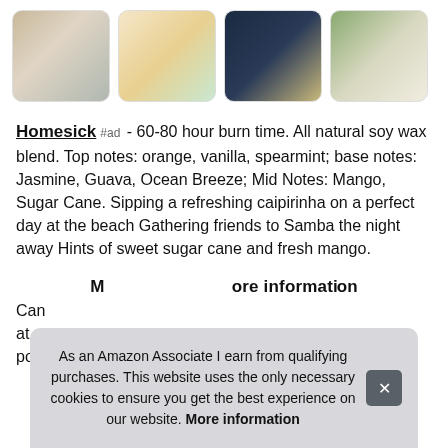[Figure (photo): Row of four product thumbnail photos showing Homesick candles in various settings]
Homesick #ad - 60-80 hour burn time. All natural soy wax blend. Top notes: orange, vanilla, spearmint; base notes: Jasmine, Guava, Ocean Breeze; Mid Notes: Mango, Sugar Cane. Sipping a refreshing caipirinha on a perfect day at the beach Gathering friends to Samba the night away Hints of sweet sugar cane and fresh mango.
More information
Can
at a
pou
As an Amazon Associate I earn from qualifying purchases. This website uses the only necessary cookies to ensure you get the best experience on our website. More information